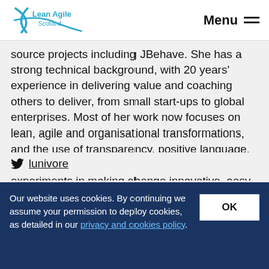Lean Agile Scotland | Menu
source projects including JBehave. She has a strong technical background, with 20 years' experience in delivering value and coaching others to deliver, from small start-ups to global enterprises. Most of her work now focuses on lean, agile and organisational transformations, and the use of transparency, positive language, well-formed outcomes and safe-to-fail experiments in making change innovative, easy and fun.
lunivore
Our website uses cookies. By continuing we assume your permission to deploy cookies, as detailed in our privacy and cookies policy.